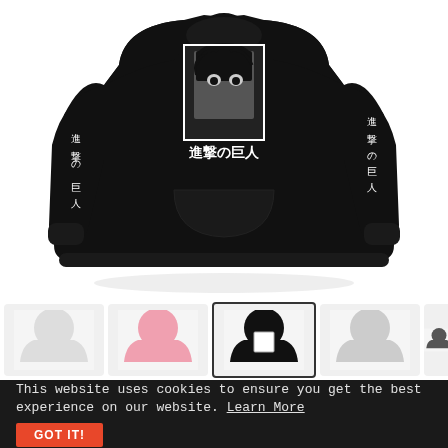[Figure (photo): Black hoodie/sweatshirt with anime character face (Attack on Titan) printed on chest in a bordered frame, with Japanese kanji text '進撃の巨人' on the chest and along both sleeves, laid flat on white background]
[Figure (photo): Row of thumbnail images showing hoodie color variants: white, pink, black (selected/highlighted), and white with dark print]
This website uses cookies to ensure you get the best experience on our website. Learn More
GOT IT!